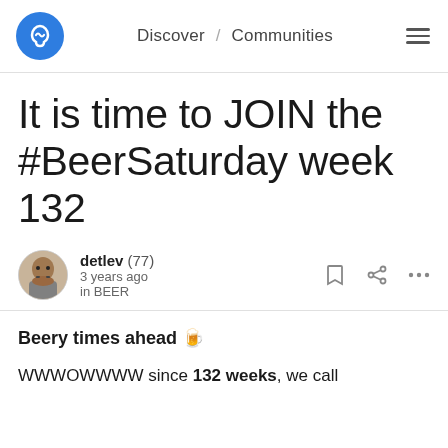Discover / Communities
It is time to JOIN the #BeerSaturday week 132
detlev (77) · 3 years ago · in BEER
Beery times ahead 🍺
WWWOWWWW since 132 weeks, we call